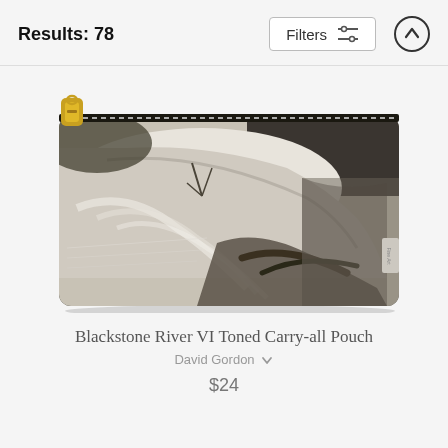Results: 78
[Figure (photo): A carry-all pouch product featuring a black and white / sepia-toned photograph of the Blackstone River waterfall with flowing water, rocks, fallen logs, and tree reflections. The pouch has a gold zipper at the top.]
Blackstone River VI Toned Carry-all Pouch
David Gordon
$24